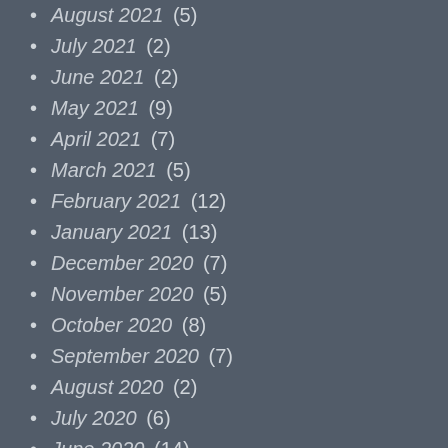August 2021 (5)
July 2021 (2)
June 2021 (2)
May 2021 (9)
April 2021 (7)
March 2021 (5)
February 2021 (12)
January 2021 (13)
December 2020 (7)
November 2020 (5)
October 2020 (8)
September 2020 (7)
August 2020 (2)
July 2020 (6)
June 2020 (14)
May 2020 (12)